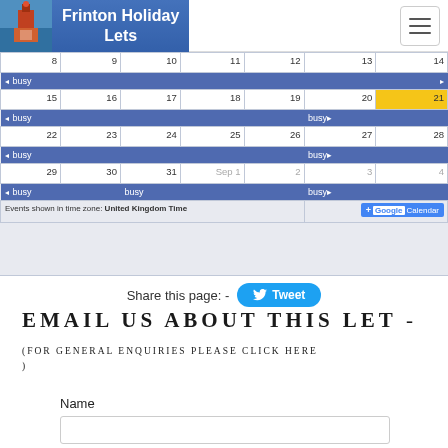Frinton Holiday Lets
[Figure (screenshot): Google Calendar embed showing busy periods for weeks of Aug 8-14, 15-21, 22-28, 29 - Sep 4. Multiple 'busy' bars shown in blue. Date 21 is highlighted in yellow/gold.]
Events shown in time zone: United Kingdom Time
Share this page: -
Tweet
EMAIL US ABOUT THIS LET -
(FOR GENERAL ENQUIRIES PLEASE CLICK HERE )
Name